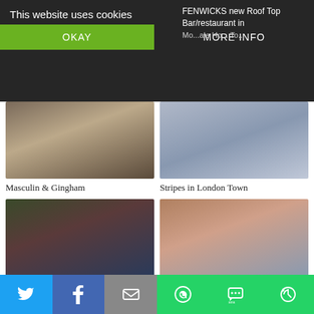This website uses cookies
OKAY
MORE INFO
FENWICKS new Roof Top Bar/restaurant in...
[Figure (photo): Fashion blog grid thumbnail: Masculin & Gingham - person in gingham outfit outdoors]
Masculin & Gingham
[Figure (photo): Fashion blog grid thumbnail: Stripes in London Town - person in striped skirt in London]
Stripes in London Town
[Figure (photo): Fashion blog grid thumbnail: Red Boots French style - person in red boots with French style]
Red Boots French style
[Figure (photo): Fashion blog grid thumbnail: Koningsplein - person with pink/red hair wearing a beanie in front of brick building]
Koningsplein
[Figure (photo): Fashion blog grid thumbnail - person in red velvet blazer in crowd]
[Figure (photo): Fashion blog grid thumbnail - person in floral skirt and navy blouse indoors]
[Figure (infographic): Social sharing bar with Twitter, Facebook, Email, WhatsApp, SMS, and share icons]